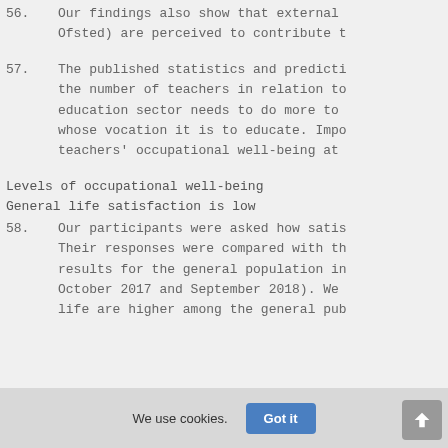56. Our findings also show that external Ofsted) are perceived to contribute t
57. The published statistics and predicti the number of teachers in relation to education sector needs to do more to whose vocation it is to educate. Impo teachers' occupational well-being at
Levels of occupational well-being
General life satisfaction is low
58. Our participants were asked how satis Their responses were compared with th results for the general population in October 2017 and September 2018). We life are higher among the general pub